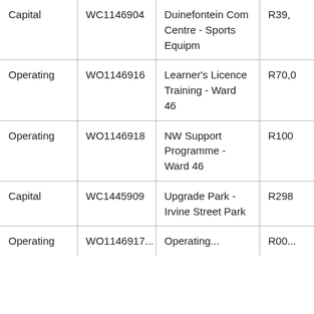| Type | Reference | Description | Amount |
| --- | --- | --- | --- |
| Capital | WC1146904 | Duinefontein Com Centre - Sports Equipm | R39,... |
| Operating | WO1146916 | Learner's Licence Training - Ward 46 | R70,0... |
| Operating | WO1146918 | NW Support Programme - Ward 46 | R100... |
| Capital | WC1445909 | Upgrade Park - Irvine Street Park | R298... |
| Operating | WO1146917... | Operating... | R00... |